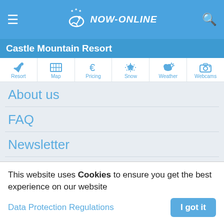≡  ★ NOW-ONLINE  🔍
Castle Mountain Resort
[Figure (screenshot): Navigation bar with icons: Resort, Map, Pricing, Snow, Weather, Webcams]
About us
FAQ
Newsletter
Surveys
Evaluate a Ski Resort
This website uses Cookies to ensure you get the best experience on our website
Data Protection Regulations
I got it